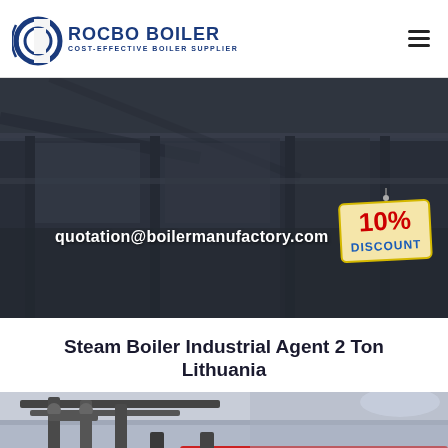ROCBO BOILER - COST-EFFECTIVE BOILER SUPPLIER
[Figure (photo): Dark industrial boiler factory interior hero banner with email address 'quotation@boilermanufactory.com' and a 10% discount badge on the right side]
Steam Boiler Industrial Agent 2 Ton Lithuania
[Figure (photo): Industrial boiler room with dark pipes, red pipe visible, ceiling mounted equipment]